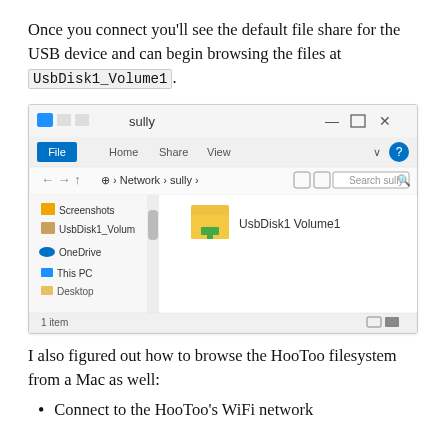Once you connect you'll see the default file share for the USB device and can begin browsing the files at UsbDisk1_Volume1.
[Figure (screenshot): Windows File Explorer screenshot showing network share 'sully' with UsbDisk1 Volume1 folder visible. Navigation bar shows Network > sully. Left pane shows Screenshots, UsbDisk1_Volum, OneDrive, This PC, Desktop. Status bar shows '1 item'.]
I also figured out how to browse the HooToo filesystem from a Mac as well:
Connect to the HooToo's WiFi network